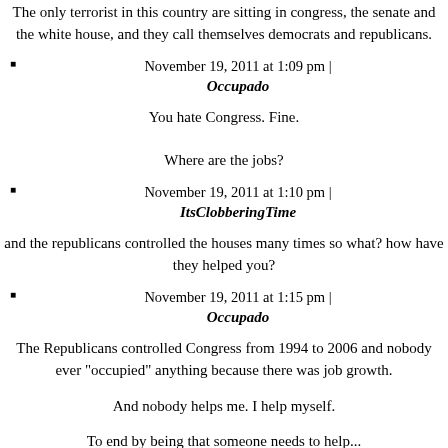The only terrorist in this country are sitting in congress, the senate and the white house, and they call themselves democrats and republicans.
November 19, 2011 at 1:09 pm | Occupado
You hate Congress. Fine.
Where are the jobs?
November 19, 2011 at 1:10 pm | ItsClobberingTime
and the republicans controlled the houses many times so what? how have they helped you?
November 19, 2011 at 1:15 pm | Occupado
The Republicans controlled Congress from 1994 to 2006 and nobody ever "occupied" anything because there was job growth.
And nobody helps me. I help myself.
To end by being that someone needs to help...